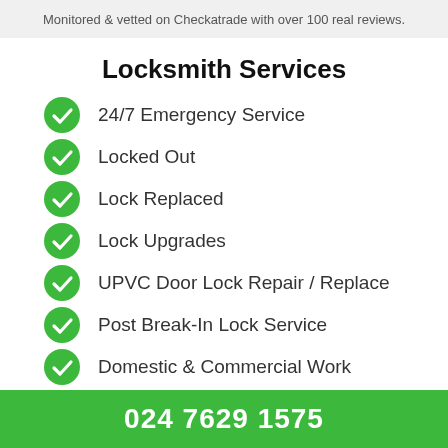Monitored & vetted on Checkatrade with over 100 real reviews.
Locksmith Services
24/7 Emergency Service
Locked Out
Lock Replaced
Lock Upgrades
UPVC Door Lock Repair / Replace
Post Break-In Lock Service
Domestic & Commercial Work
024 7629 1575